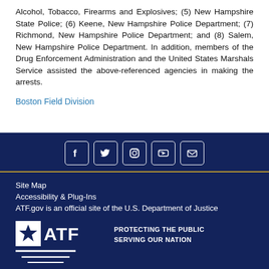Alcohol, Tobacco, Firearms and Explosives; (5) New Hampshire State Police; (6) Keene, New Hampshire Police Department; (7) Richmond, New Hampshire Police Department; and (8) Salem, New Hampshire Police Department. In addition, members of the Drug Enforcement Administration and the United States Marshals Service assisted the above-referenced agencies in making the arrests.
Boston Field Division
Social media icons: Facebook, Twitter, Instagram, YouTube, Email | Site Map | Accessibility & Plug-Ins | ATF.gov is an official site of the U.S. Department of Justice | ATF Protecting the Public Serving Our Nation